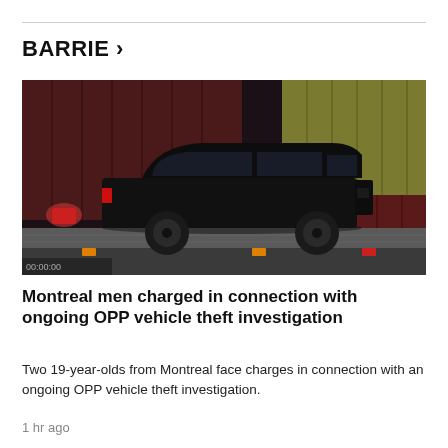BARRIE >
[Figure (photo): A black SUV (Range Rover) loaded on a flatbed trailer at night, surrounded by shipping containers in red and yellow.]
Montreal men charged in connection with ongoing OPP vehicle theft investigation
Two 19-year-olds from Montreal face charges in connection with an ongoing OPP vehicle theft investigation.
1 hr ago